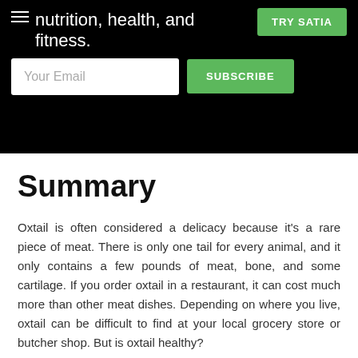nutrition, health, and fitness.
[Figure (screenshot): Email subscription bar with 'Your Email' input field and a green 'SUBSCRIBE' button, plus a green 'TRY SATIA' button in the top right]
Summary
Oxtail is often considered a delicacy because it's a rare piece of meat. There is only one tail for every animal, and it only contains a few pounds of meat, bone, and some cartilage. If you order oxtail in a restaurant, it can cost much more than other meat dishes. Depending on where you live, oxtail can be difficult to find at your local grocery store or butcher shop. But is oxtail healthy?